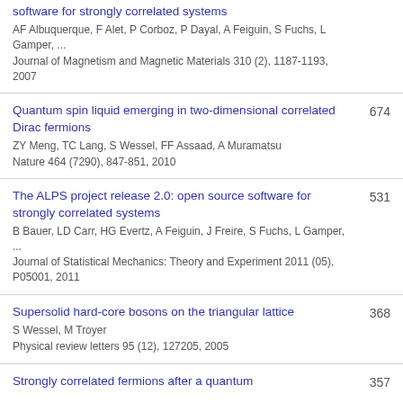software for strongly correlated systems
AF Albuquerque, F Alet, P Corboz, P Dayal, A Feiguin, S Fuchs, L Gamper, ...
Journal of Magnetism and Magnetic Materials 310 (2), 1187-1193, 2007
Quantum spin liquid emerging in two-dimensional correlated Dirac fermions
ZY Meng, TC Lang, S Wessel, FF Assaad, A Muramatsu
Nature 464 (7290), 847-851, 2010 | 674
The ALPS project release 2.0: open source software for strongly correlated systems
B Bauer, LD Carr, HG Evertz, A Feiguin, J Freire, S Fuchs, L Gamper, ...
Journal of Statistical Mechanics: Theory and Experiment 2011 (05), P05001, 2011 | 531
Supersolid hard-core bosons on the triangular lattice
S Wessel, M Troyer
Physical review letters 95 (12), 127205, 2005 | 368
Strongly correlated fermions after a quantum | 357